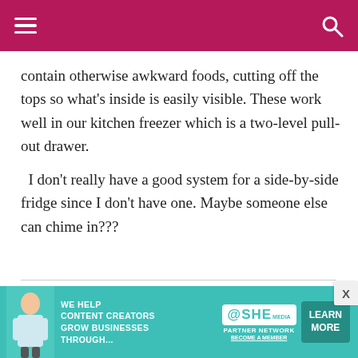contain otherwise awkward foods, cutting off the tops so what's inside is easily visible. These work well in our kitchen freezer which is a two-level pull-out drawer.
  I don't really have a good system for a side-by-side fridge since I don't have one. Maybe someone else can chime in???
Basic Foods That Freeze
[Figure (infographic): Advertisement banner: SHE Media Partner Network. Green teal background with woman photo on left, SHE logo, text 'We help content creators grow businesses through...' and 'Learn More' button.]